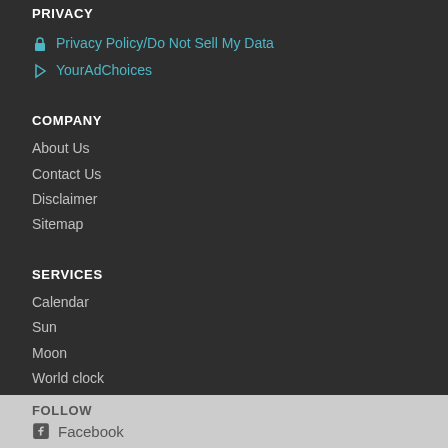PRIVACY
Privacy Policy/Do Not Sell My Data
YourAdChoices
COMPANY
About Us
Contact Us
Disclaimer
Sitemap
SERVICES
Calendar
Sun
Moon
World clock
Holidays
FOLLOW
Facebook